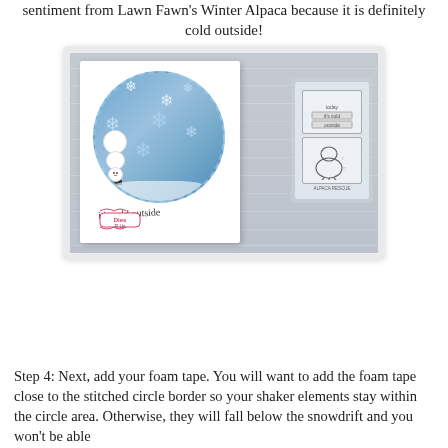sentiment from Lawn Fawn's Winter Alpaca because it is definitely cold outside!
[Figure (photo): Photo of a handmade shaker card with a circular snow globe window showing a snowman and snowflakes on a blue background, with cursive text 'it's cold outside' and a Dies R Us logo sticker. Next to the card is a clear stamp set.]
Step 4: Next, add your foam tape. You will want to add the foam tape close to the stitched circle border so your shaker elements stay within the circle area. Otherwise, they will fall below the snowdrift and you won't be able